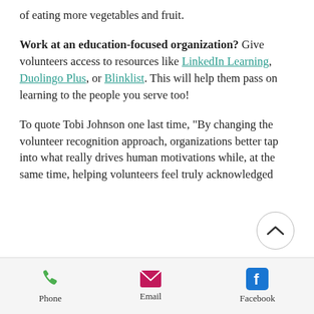of eating more vegetables and fruit.
Work at an education-focused organization? Give volunteers access to resources like LinkedIn Learning, Duolingo Plus, or Blinklist. This will help them pass on learning to the people you serve too!
To quote Tobi Johnson one last time, "By changing the volunteer recognition approach, organizations better tap into what really drives human motivations while, at the same time, helping volunteers feel truly acknowledged
Phone  Email  Facebook